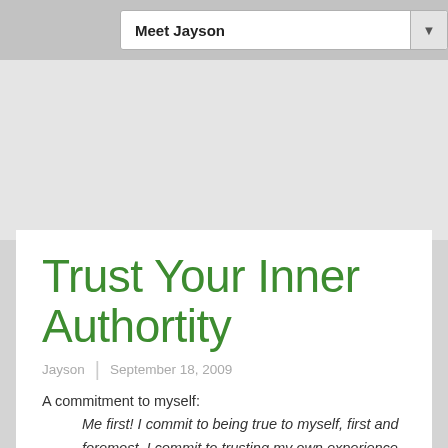Meet Jayson
Trust Your Inner Authortity
Jayson | September 18, 2009
A commitment to myself:
Me first! I commit to being true to myself, first and foremost. I commit to trusting my own experience above all else and getting to know my inner authority. No one holds the